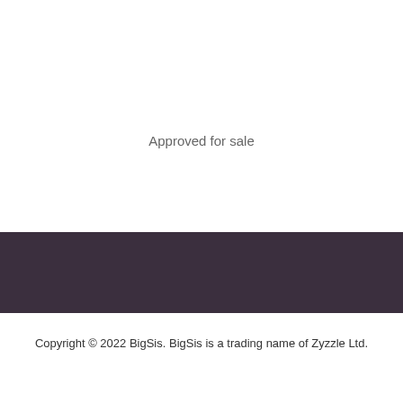Approved for sale
Copyright © 2022 BigSis. BigSis is a trading name of Zyzzle Ltd.